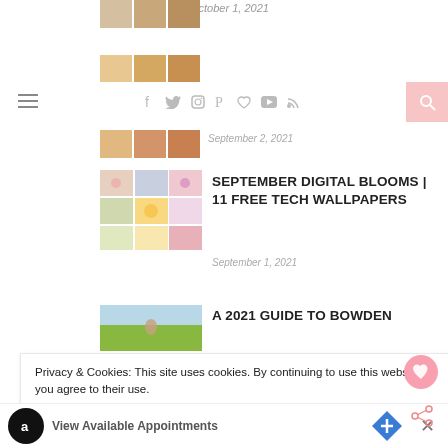October 1, 2021
[Figure (photo): Small thumbnail image strip at top]
[Figure (photo): Small thumbnail food image strip]
[Figure (screenshot): Navigation bar with hamburger menu, social icons (facebook, twitter, instagram, pinterest, heart, youtube, rss) and pink search button]
[Figure (photo): Small thumbnail image strip row 3]
September 2, 2021
[Figure (photo): Grid of floral/botanical photos for September Digital Blooms]
SEPTEMBER DIGITAL BLOOMS | 11 FREE TECH WALLPAPERS
September 1, 2021
[Figure (photo): Woman in field of sunflowers photo]
A 2021 GUIDE TO BOWDEN
Privacy & Cookies: This site uses cookies. By continuing to use this website, you agree to their use.
To find out more, including how to control cookies, see here: Privacy Policy
you time and money.
View Available Appointments